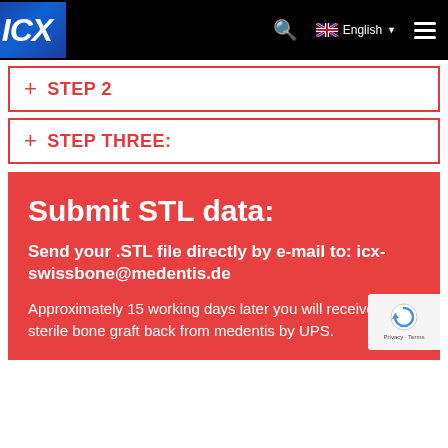ICX — English (navigation header)
+ STEP 2
+ STEP THREE:
Submit STL data:
Send your .STL file directly by e-mail to: icx-swissbone@medentis.de
Approximately 15 working days later you will receive the sterile bone graft back from medentis by UPS.